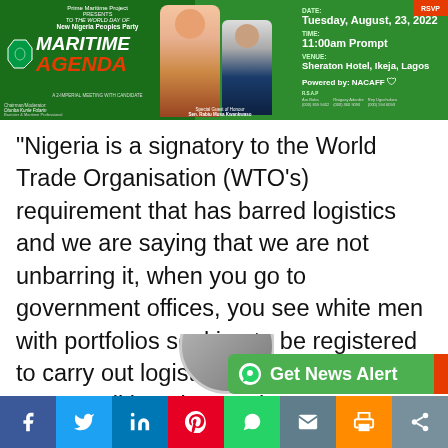[Figure (infographic): Prime Maritime Project advertisement banner for Maritime Agenda event. New Nigeria Peoples Party. Date: Tuesday, August 23, 2022. Time: 11:00am Prompt. Venue: Sheraton Hotel, Ikeja, Lagos. Powered by: NACAFF.]
“Nigeria is a signatory to the World Trade Organisation (WTO’s) requirement that has barred logistics and we are saying that we are not unbarring it, when you go to government offices, you see white men with portfolios seeking to be registered to carry out logistics, where are the jobs we are talking about going to come from? This is where the jobs are, in logistics and that is where the Nigerian populace is completely left out.
[Figure (infographic): Get News Alert WhatsApp button (green) and social media sharing bar with Facebook, Twitter, LinkedIn, Pinterest, WhatsApp, Email, Print, Share buttons.]